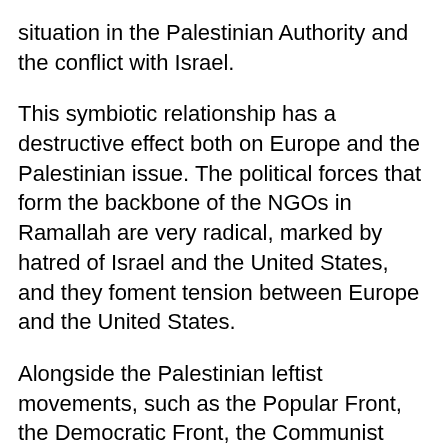situation in the Palestinian Authority and the conflict with Israel.
This symbiotic relationship has a destructive effect both on Europe and the Palestinian issue. The political forces that form the backbone of the NGOs in Ramallah are very radical, marked by hatred of Israel and the United States, and they foment tension between Europe and the United States.
Alongside the Palestinian leftist movements, such as the Popular Front, the Democratic Front, the Communist Party and others that have long ago lost their place in Palestinian society, there are other groups, such as the Fatah Tanzim, that Europe can finance only within the NGO framework. In the most recent Palestinian